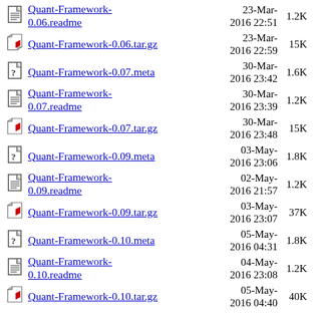Quant-Framework-0.06.readme  23-Mar-2016 22:51  1.2K
Quant-Framework-0.06.tar.gz  23-Mar-2016 22:59  15K
Quant-Framework-0.07.meta  30-Mar-2016 23:42  1.6K
Quant-Framework-0.07.readme  30-Mar-2016 23:39  1.2K
Quant-Framework-0.07.tar.gz  30-Mar-2016 23:48  15K
Quant-Framework-0.09.meta  03-May-2016 23:06  1.8K
Quant-Framework-0.09.readme  02-May-2016 21:57  1.2K
Quant-Framework-0.09.tar.gz  03-May-2016 23:07  37K
Quant-Framework-0.10.meta  05-May-2016 04:31  1.8K
Quant-Framework-0.10.readme  04-May-2016 23:08  1.2K
Quant-Framework-0.10.tar.gz  05-May-2016 04:40  40K
...  12-May-  ...